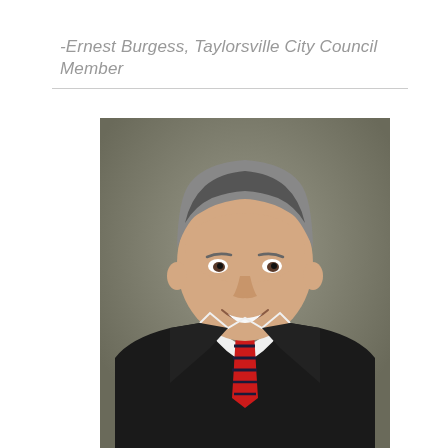-Ernest Burgess, Taylorsville City Council Member
[Figure (photo): Professional headshot of Ernest Burgess, a middle-aged man with short salt-and-pepper hair, wearing a dark suit, white dress shirt, and a red and navy striped tie, smiling against a gray background.]